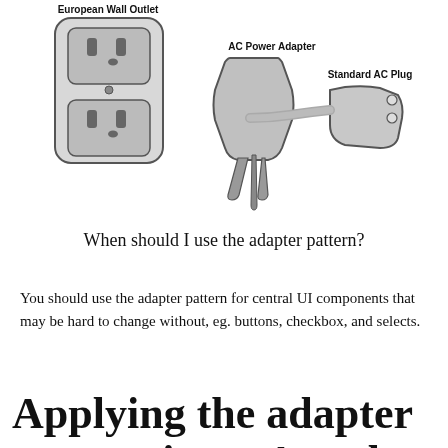[Figure (illustration): Three labeled illustrations: a European Wall Outlet (large rectangular socket with two UK-style sockets), an AC Power Adapter (three-pronged plug adapter), and a Standard AC Plug (two-pronged plug with cord).]
When should I use the adapter pattern?
You should use the adapter pattern for central UI components that may be hard to change without, eg. buttons, checkbox, and selects.
Applying the adapter pattern in an Angular app